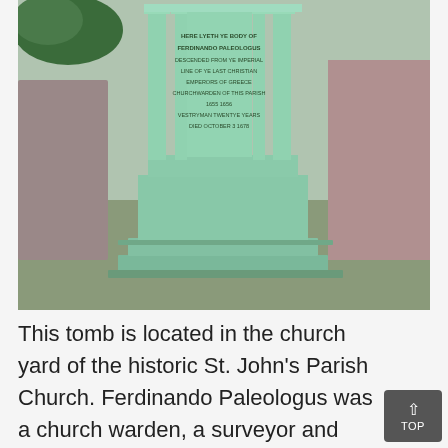[Figure (photo): Photograph of a green painted stone tomb monument with columns and inscription text, located in a churchyard. The inscription reads: HERE LYETH YE BODY OF FERDINANDO PALEOLOGUS DESCENDED FROM YE IMPERIAL LINE OF YE LAST CHRISTIAN EMPERORS OF GREECE CHURCHWARDEN OF THIS PARISH 1655 1656 VESTRYMAN TWENTYE YEARS DIED OCTOBER 3 1678]
This tomb is located in the church yard of the historic St. John's Parish Church. Ferdinando Paleologus was a church warden, a surveyor and owner of a plantation (Clifton Hall). He was